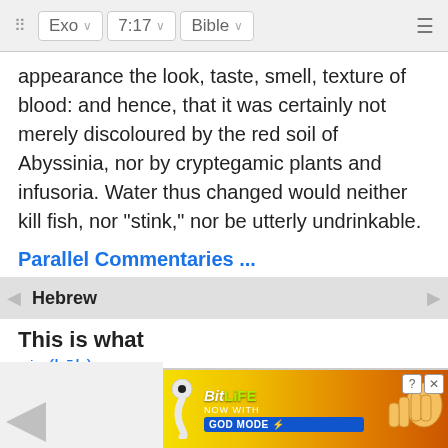Exo  7:17  Bible
appearance the look, taste, smell, texture of blood: and hence, that it was certainly not merely discoloured by the red soil of Abyssinia, nor by cryptegamic plants and infusoria. Water thus changed would neither kill fish, nor "stink," nor be utterly undrinkable.
Parallel Commentaries ...
Hebrew
This is what
כֹּ֤ה (kōh)
Adverb
Strong's 3541: Like this, thus, here, now
the L
[Figure (screenshot): BitLife advertisement banner: 'BitLiFE NOW WITH GOD MODE' with yellow lightning bolt and pointing hand graphic]